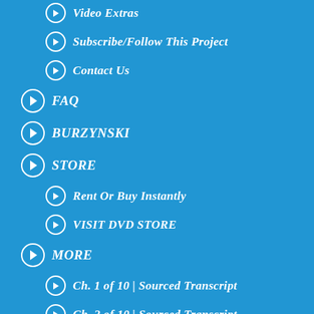Video Extras
Subscribe/Follow This Project
Contact Us
FAQ
BURZYNSKI
STORE
Rent Or Buy Instantly
VISIT DVD STORE
MORE
Ch. 1 of 10 | Sourced Transcript
Ch. 2 of 10 | Sourced Transcript
Ch. 3 of 10 | Sourced Transcript